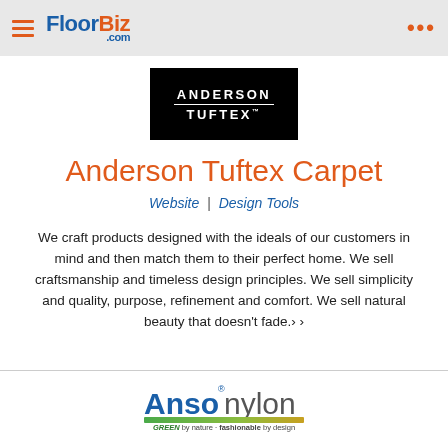FloorBiz.com
[Figure (logo): Anderson Tuftex brand logo — white text on black background: ANDERSON above a horizontal rule, TUFTEX trademark below]
Anderson Tuftex Carpet
Website | Design Tools
We craft products designed with the ideals of our customers in mind and then match them to their perfect home. We sell craftsmanship and timeless design principles. We sell simplicity and quality, purpose, refinement and comfort. We sell natural beauty that doesn't fade.> >
[Figure (logo): Ansonylon logo — 'Anso' in bold blue letters, 'nylon' in grey, tagline 'GREEN by nature · fashionable by design' with green and gold gradient bar]